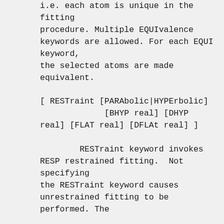i.e. each atom is unique in the fitting
procedure. Multiple EQUIvalence keywords are allowed. For each EQUI keyword,
the selected atoms are made equivalent.

[ RESTraint [PARAbolic|HYPErbolic]
             [BHYP real] [DHYP
real] [FLAT real] [DFLAt real] ]

        RESTraint keyword invokes
RESP restrained fitting.  Not specifying
the RESTraint keyword causes unrestrained fitting to be
performed. The